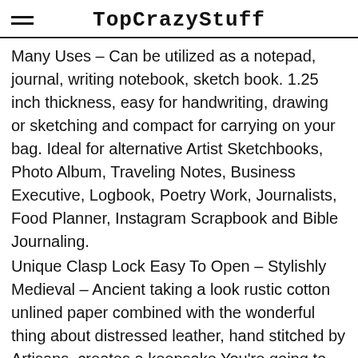TopCrazyStuff
Many Uses – Can be utilized as a notepad, journal, writing notebook, sketch book. 1.25 inch thickness, easy for handwriting, drawing or sketching and compact for carrying on your bag. Ideal for alternative Artist Sketchbooks, Photo Album, Traveling Notes, Business Executive, Logbook, Poetry Work, Journalists, Food Planner, Instagram Scrapbook and Bible Journaling.
Unique Clasp Lock Easy To Open – Stylishly Medieval – Ancient taking a look rustic cotton unlined paper combined with the wonderful thing about distressed leather, hand stitched by Artisans, creates a keepsake You're going to cherish endlessly. Makes a superb present for the men, women, and wiccans on your life!